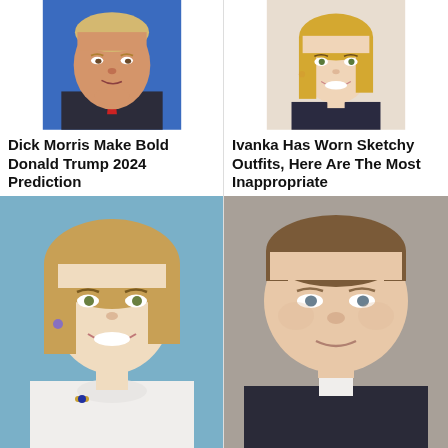[Figure (photo): Man with grey/blonde hair in a suit, smirking, blue background — Donald Trump]
[Figure (photo): Young blonde woman smiling, wearing jewelry — Ivanka Trump]
Dick Morris Make Bold Donald Trump 2024 Prediction
Ivanka Has Worn Sketchy Outfits, Here Are The Most Inappropriate
[Figure (photo): Woman with voluminous brown/blonde hair, white ruffled blouse, smiling — Princess Diana]
[Figure (photo): Middle-aged man with short brown hair, close-up headshot, slight smile]